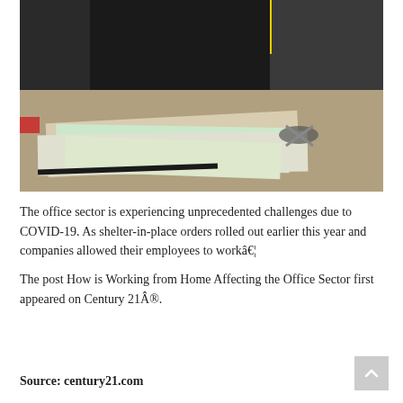[Figure (photo): Photo of a cluttered desk with papers, scissors, and a monitor in the background with a yellow sign partially visible showing the word HOME]
The office sector is experiencing unprecedented challenges due to COVID-19. As shelter-in-place orders rolled out earlier this year and companies allowed their employees to workâ¦
The post How is Working from Home Affecting the Office Sector first appeared on Century 21Â®.
Source: century21.com